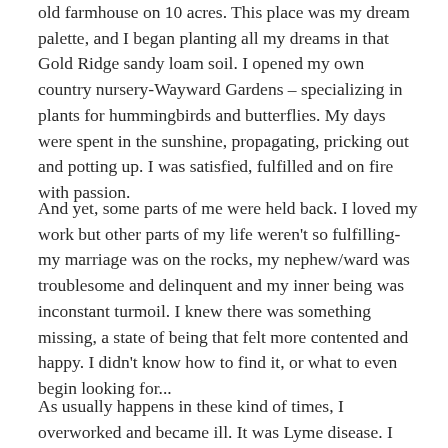old farmhouse on 10 acres.  This place was my dream palette, and I began planting all my dreams in that Gold Ridge sandy loam soil.  I opened my own country nursery-Wayward Gardens – specializing in plants for hummingbirds and butterflies.  My days were spent in the sunshine, propagating, pricking out and potting up.  I was satisfied, fulfilled and on fire with passion.
And yet, some parts of me were held back.  I loved my work but other parts of my life weren't so fulfilling- my marriage was on the rocks, my nephew/ward was troublesome and delinquent and my inner being was inconstant turmoil.  I knew there was something missing, a state of being that felt more contented and happy.  I didn't know how to find it, or what to even begin looking for...
As usually happens in these kind of times, I overworked and became ill.  It was Lyme disease.  I suffered for two years –